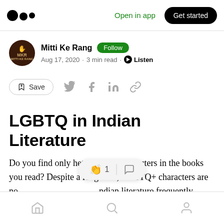Medium logo | Open in app | Get started
Mitti Ke Rang · Follow · Aug 17, 2020 · 3 min read · Listen
[Figure (screenshot): Save button with bookmark icon, and social sharing icons for Twitter, Facebook, LinkedIn, and link]
LGBTQ in Indian Literature
Do you find only heterosexual characters in the books you read? Despite a long time, LGBTQ+ characters are no [partially obscured] ndian literature frequently.
Home | Search | Profile icons — bottom navigation bar